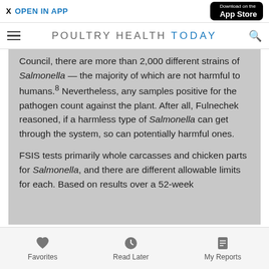X  OPEN IN APP | Download on the App Store
POULTRY HEALTH TODAY
Council, there are more than 2,000 different strains of Salmonella — the majority of which are not harmful to humans.8 Nevertheless, any samples positive for the pathogen count against the plant. After all, Fulnechek reasoned, if a harmless type of Salmonella can get through the system, so can potentially harmful ones.
FSIS tests primarily whole carcasses and chicken parts for Salmonella, and there are different allowable limits for each. Based on results over a 52-week
Favorites   Read Later   My Reports